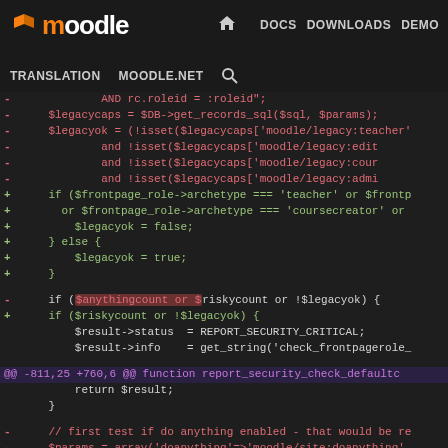Moodle — DOCS DOWNLOADS DEMO TRACKER DEV | TRANSLATION MOODLE.NET
[Figure (screenshot): Moodle developer site navigation header with logo and nav links including DEV highlighted in blue, and sub-nav with TRANSLATION, MOODLE.NET, and search icon]
Code diff showing removal and addition of lines in a PHP security check function. Removed lines (red) include AND rc.roleid = :roleid"; $legacycaps = $DB->get_records_sql($sql, $params); $legacyok = (!isset($legacycaps['moodle/legacy:teacher'] and !isset($legacycaps['moodle/legacy:edit'] and !isset($legacycaps['moodle/legacy:cour'] and !isset($legacycaps['moodle/legacy:admi']. Added lines (green): if ($frontpage_role->archetype === 'teacher' or $frontp or $frontpage_role->archetype === 'coursecreator' or $legacyok = false; } else { $legacyok = true; }. Then: removed: if ($anythingcount or $riskycount or !$legacyok) { added: if ($riskycount or !$legacyok) { unchanged: $result->status = REPORT_SECURITY_CRITICAL; $result->info = get_string('check_frontpagerole_. Hunk: @@ -811,25 +760,6 @@ function report_security_check_defaultc. unchanged: return $result; }. Removed: // first test if do anything enabled - that would be re $params = array('doanything'=>'moodle/site:doanything', $sql = "SELECT DISTINCT rc.contextid FROM {role_capabilities} rc